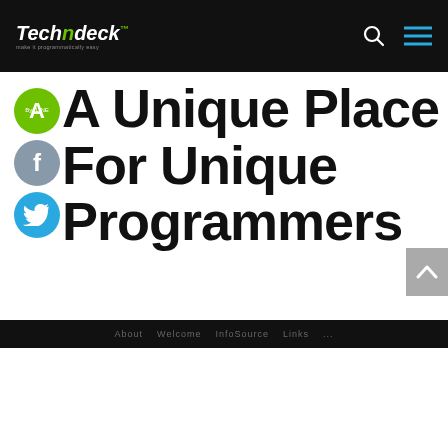Techndeck — navigation bar with logo, search icon, hamburger menu
A Unique Place For Unique Programmers
[Figure (logo): Techndeck website screenshot showing header with black navbar containing Techndeck logo, search icon, hamburger menu icon, main hero area with social sharing icons (A/share button in green, Facebook in grey, Twitter in cyan) and large bold headline 'A Unique Place For Unique Programmers', bottom black footer bar, and scroll-to-top button]
About   Welcome   InfoSource   Links   ...